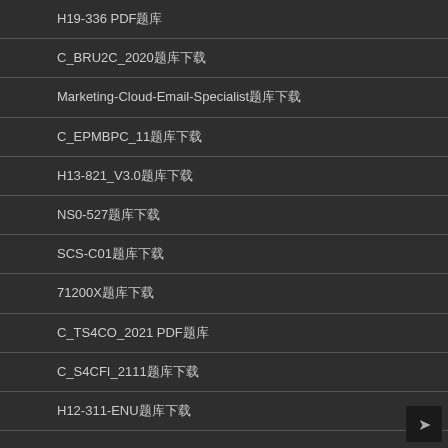H19-336 PDF题库
C_BRU2C_2020题库下载
Marketing-Cloud-Email-Specialist题库下载
C_EPMBPC_11题库下载
H13-821_V3.0题库下载
NS0-527题库下载
SCS-C01题库下载
71200X题库下载
C_TS4CO_2021 PDF题库
C_S4CFI_2111题库下载
H12-311-ENU题库下载